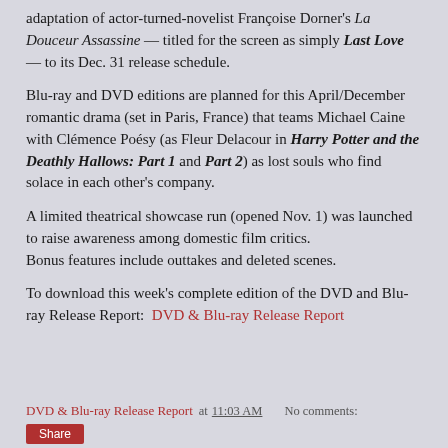adaptation of actor-turned-novelist Françoise Dorner's La Douceur Assassine — titled for the screen as simply Last Love — to its Dec. 31 release schedule.
Blu-ray and DVD editions are planned for this April/December romantic drama (set in Paris, France) that teams Michael Caine with Clémence Poésy (as Fleur Delacour in Harry Potter and the Deathly Hallows: Part 1 and Part 2) as lost souls who find solace in each other's company.
A limited theatrical showcase run (opened Nov. 1) was launched to raise awareness among domestic film critics. Bonus features include outtakes and deleted scenes.
To download this week's complete edition of the DVD and Blu-ray Release Report:  DVD & Blu-ray Release Report
DVD & Blu-ray Release Report at 11:03 AM    No comments: